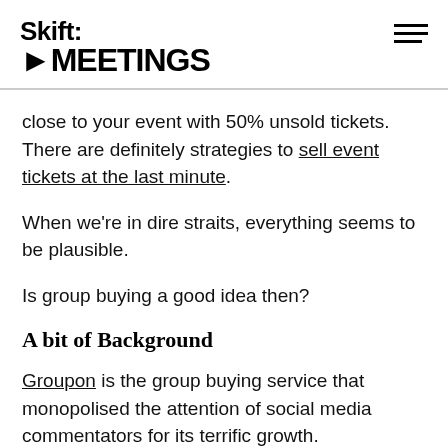Skift MEETINGS
close to your event with 50% unsold tickets. There are definitely strategies to sell event tickets at the last minute.
When we're in dire straits, everything seems to be plausible.
Is group buying a good idea then?
A bit of Background
Groupon is the group buying service that monopolised the attention of social media commentators for its terrific growth.